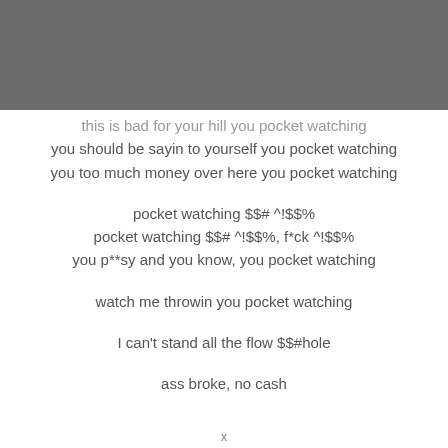this is bad for your hill you pocket watching
you should be sayin to yourself you pocket watching
you too much money over here you pocket watching
pocket watching $$# ^!$$%
pocket watching $$# ^!$$%, f*ck ^!$$%
you p**sy and you know, you pocket watching
watch me throwin you pocket watching
I can't stand all the flow $$#hole
ass broke, no cash
x